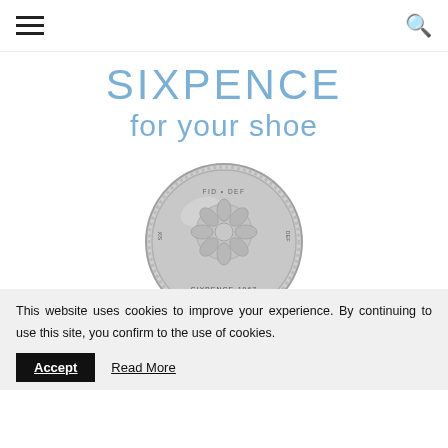≡ [hamburger menu] [search icon]
SIXPENCE for your shoe
[Figure (photo): A silver sixpence coin from 1967 showing the reverse side with floral emblem]
WHERE TO BUY A SIXPENCE FOR...
This website uses cookies to improve your experience. By continuing to use this site, you confirm to the use of cookies.
Accept   Read More